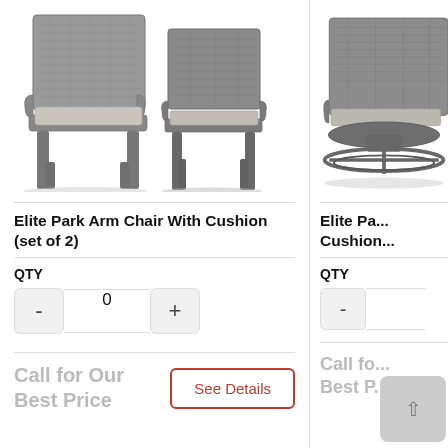[Figure (photo): Two gray wicker outdoor arm chairs with light gray cushions, shown from slightly different angles]
Elite Park Arm Chair With Cushion (set of 2)
QTY
0
Call for Our Best Price
See Details
[Figure (photo): Partially visible gray wicker swivel arm chair with cushion (cropped right side)]
Elite Pa... Cushion...
QTY
Call fo... Best P...